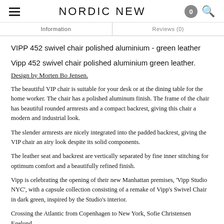NORDIC NEW
Information | Reviews (0)
VIPP 452 swivel chair polished aluminium - green leather
Vipp 452 swivel chair polished aluminium green leather.
Design by Morten Bo Jensen.
The beautiful VIP chair is suitable for your desk or at the dining table for the home worker. The chair has a polished aluminum finish. The frame of the chair has beautiful rounded armrests and a compact backrest, giving this chair a modern and industrial look.
The slender armrests are nicely integrated into the padded backrest, giving the VIP chair an airy look despite its solid components.
The leather seat and backrest are vertically separated by fine inner stitching for optimum comfort and a beautifully refined finish.
Vipp is celebrating the opening of their new Manhattan premises, 'Vipp Studio NYC', with a capsule collection consisting of a remake of Vipp's Swivel Chair in dark green, inspired by the Studio's interior.
Crossing the Atlantic from Copenhagen to New York, Sofie Christensen Egelund,